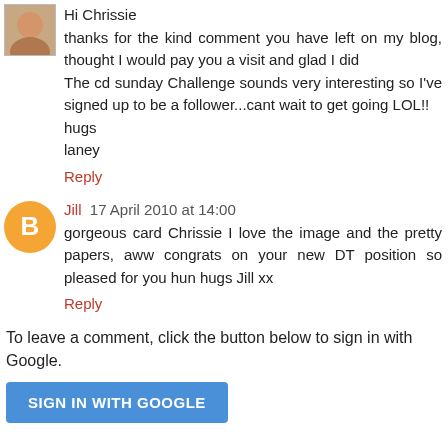[Figure (photo): Small avatar photo of a person (Laney), cropped portrait]
Hi Chrissie
thanks for the kind comment you have left on my blog, thought I would pay you a visit and glad I did
The cd sunday Challenge sounds very interesting so I've signed up to be a follower...cant wait to get going LOL!!
hugs
laney
Reply
[Figure (illustration): Orange circle avatar with letter B (Blogger icon) for user Jill]
Jill  17 April 2010 at 14:00
gorgeous card Chrissie I love the image and the pretty papers, aww congrats on your new DT position so pleased for you hun hugs Jill xx
Reply
To leave a comment, click the button below to sign in with Google.
SIGN IN WITH GOOGLE